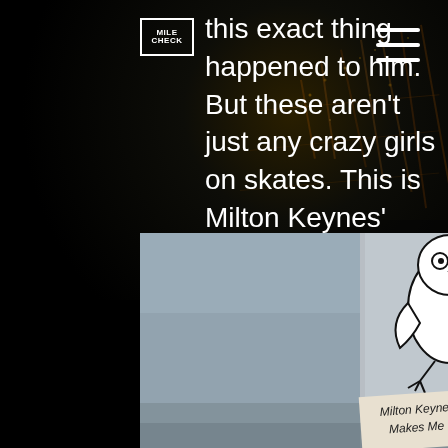[Figure (logo): Small logo box with text MILE CHECK in white on dark background, bordered]
this exact thing happened to him. But these aren't just any crazy girls on skates. This is Milton Keynes' very own Roller Derby team. What? You don't know what Roller Derby is? Where have you been? This slightly mad new sport...
[Figure (photo): A concrete pillar or post with a sticker of a cartoon bird (owl/penguin-like) drawn in black and white, and below it a handwritten-style sticker reading 'Milton Keynes Makes Me Ki...' The background shows a greyed outdoor scene.]